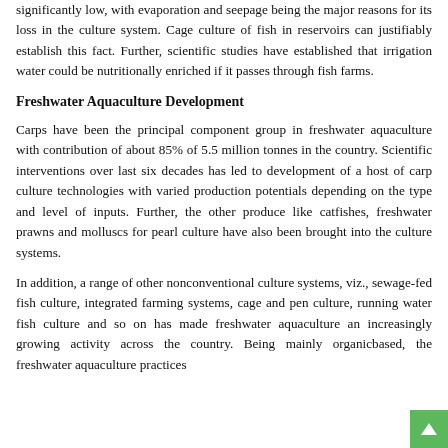significantly low, with evaporation and seepage being the major reasons for its loss in the culture system. Cage culture of fish in reservoirs can justifiably establish this fact. Further, scientific studies have established that irrigation water could be nutritionally enriched if it passes through fish farms.
Freshwater Aquaculture Development
Carps have been the principal component group in freshwater aquaculture with contribution of about 85% of 5.5 million tonnes in the country. Scientific interventions over last six decades has led to development of a host of carp culture technologies with varied production potentials depending on the type and level of inputs. Further, the other produce like catfishes, freshwater prawns and molluscs for pearl culture have also been brought into the culture systems.
In addition, a range of other nonconventional culture systems, viz., sewage-fed fish culture, integrated farming systems, cage and pen culture, running water fish culture and so on has made freshwater aquaculture an increasingly growing activity across the country. Being mainly organicbased, the freshwater aquaculture practices